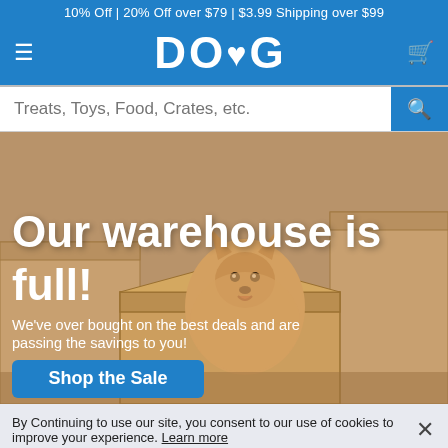10% Off | 20% Off over $79 | $3.99 Shipping over $99
DOG
[Figure (screenshot): Dog website hero image showing a Pomeranian puppy sitting inside a cardboard box, surrounded by more cardboard boxes. Overlaid text reads 'Our warehouse is full! We've over bought on the best deals and are passing the savings to you!' with a blue 'Shop the Sale' button.]
By Continuing to use our site, you consent to our use of cookies to improve your experience. Learn more